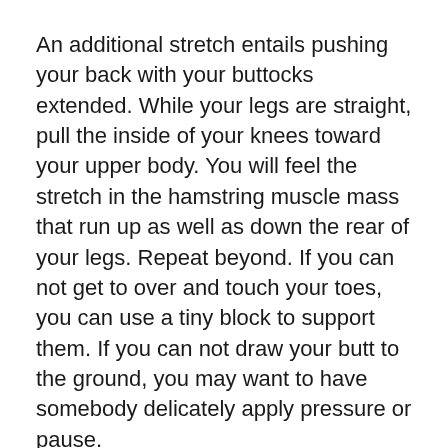An additional stretch entails pushing your back with your buttocks extended. While your legs are straight, pull the inside of your knees toward your upper body. You will feel the stretch in the hamstring muscle mass that run up as well as down the rear of your legs. Repeat beyond. If you can not get to over and touch your toes, you can use a tiny block to support them. If you can not draw your butt to the ground, you may want to have somebody delicately apply pressure or pause.
One last stretch entails reclining number 4 stretch. This stretch is less complicated than the cat stretch. To perform the reclined figure 4 stretch, first draw your knees directly to